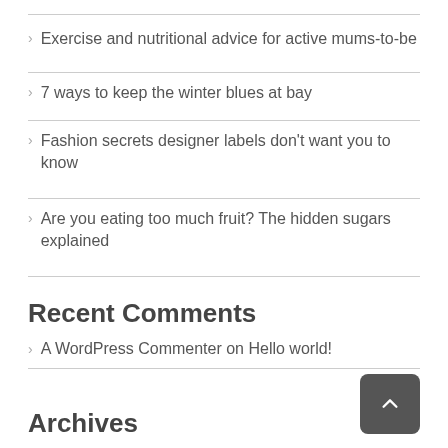Exercise and nutritional advice for active mums-to-be
7 ways to keep the winter blues at bay
Fashion secrets designer labels don't want you to know
Are you eating too much fruit? The hidden sugars explained
Recent Comments
A WordPress Commenter on Hello world!
Archives